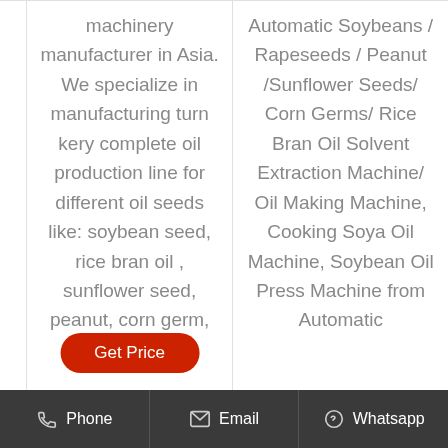machinery manufacturer in Asia. We specialize in manufacturing turn kery complete oil production line for different oil seeds like: soybean seed, rice bran oil , sunflower seed, peanut, corn germ, cotton seed,
Automatic Soybeans / Rapeseeds / Peanut /Sunflower Seeds/ Corn Germs/ Rice Bran Oil Solvent Extraction Machine/ Oil Making Machine, Cooking Soya Oil Machine, Soybean Oil Press Machine from Automatic
Phone   Email   Whatsapp